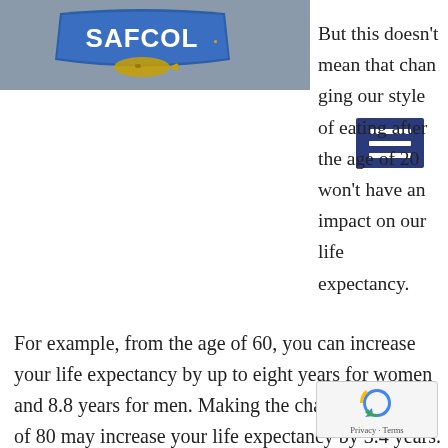[Figure (logo): SAFCOL logo — blue banner with white text 'SAFCOL' and a gold fish below on grey background header bar]
But this doesn't mean that changing our style of eating after the age of 20 won't have an impact on our life expectancy.
For example, from the age of 60, you can increase your life expectancy by up to eight years for women and 8.8 years for men. Making the change at the age of 80 may increase your life expectancy by 3.4 years. At any age, it is never too late than making alterations to our diets.